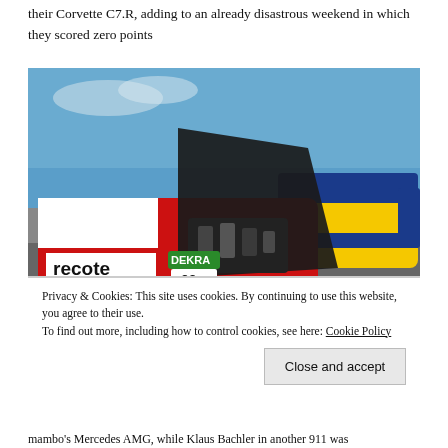their Corvette C7.R, adding to an already disastrous weekend in which they scored zero points
[Figure (photo): Racing car with hood open showing engine damage on a circuit track, with a yellow and blue car passing by in the background. The damaged car has 'recote', 'DEKRA', '99', 'ADAC' markings visible.]
Privacy & Cookies: This site uses cookies. By continuing to use this website, you agree to their use.
To find out more, including how to control cookies, see here: Cookie Policy
mambo's Mercedes AMG, while Klaus Bachler in another 911 was